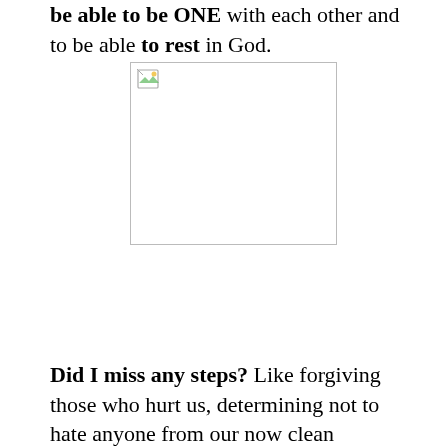be able to be ONE with each other and to be able to rest in God.
[Figure (photo): Missing/broken image placeholder with broken image icon in top-left corner]
Did I miss any steps? Like forgiving those who hurt us, determining not to hate anyone from our now clean